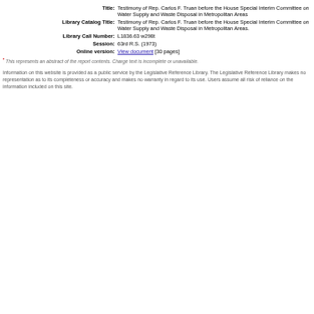| Field | Value |
| --- | --- |
| Title: | Testimony of Rep. Carlos F. Truan before the House Special Interim Committee on Water Supply and Waste Disposal in Metropolitan Areas |
| Library Catalog Title: | Testimony of Rep. Carlos F. Truan before the House Special Interim Committee on Water Supply and Waste Disposal in Metropolitan Areas. |
| Library Call Number: | L1836.63 w298t |
| Session: | 63rd R.S. (1973) |
| Online version: | View document [30 pages] |
* This represents an abstract of the report contents. Charge text is incomplete or unavailable.
Information on this website is provided as a public service by the Legislative Reference Library. The Legislative Reference Library makes no representation as to its completeness or accuracy and makes no warranty in regard to its use. Users assume all risk of reliance on the information included on this site.